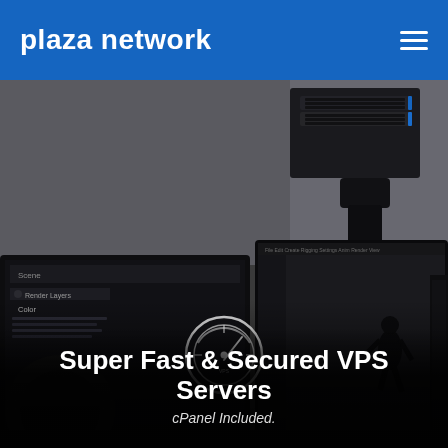plaza network
[Figure (photo): Dark moody photograph showing server rack hardware at top and dual monitors below displaying 3D rendering software and surveillance/animation footage, with a speedometer/gauge icon overlay in center]
Super Fast & Secured VPS Servers
cPanel Included.